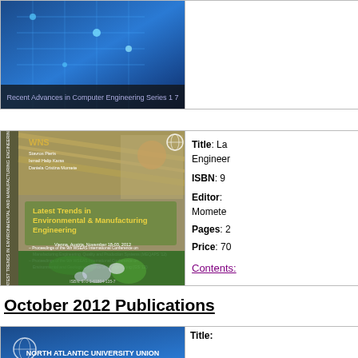[Figure (illustration): Top portion of book cover - blue computer engineering themed cover, partially visible at top of page]
[Figure (illustration): Book cover: Latest Trends in Environmental & Manufacturing Engineering, olive/tan cover with green plant and water droplets, Vienna Austria November 2012]
Title: La Engineer ISBN: 9 Editor: Momete Pages: 2 Price: 70
Contents:
October 2012 Publications
[Figure (illustration): Partial view of book cover - North Atlantic University Union, blue themed cover at bottom of page]
Title: